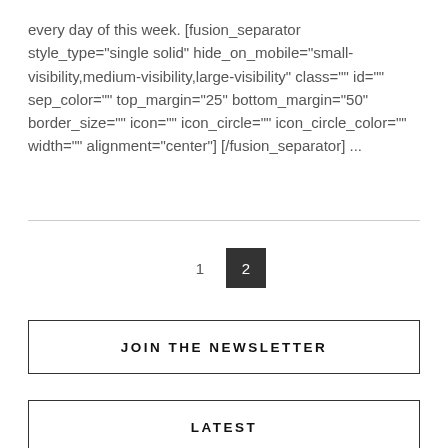every day of this week. [fusion_separator style_type="single solid" hide_on_mobile="small-visibility,medium-visibility,large-visibility" class="" id="" sep_color="" top_margin="25" bottom_margin="50" border_size="" icon="" icon_circle="" icon_circle_color="" width="" alignment="center"] [/fusion_separator] ...
1  2
JOIN THE NEWSLETTER
LATEST